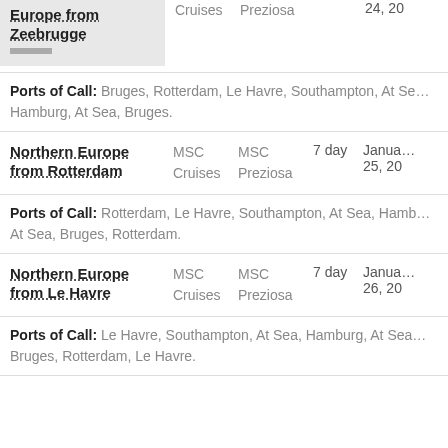Europe from Zeebrugge | MSC Cruises | MSC Preziosa | 24, 20...
Ports of Call: Bruges, Rotterdam, Le Havre, Southampton, At Sea, Hamburg, At Sea, Bruges.
Northern Europe from Rotterdam | MSC Cruises | MSC Preziosa | 7 day | January 25, 20...
Ports of Call: Rotterdam, Le Havre, Southampton, At Sea, Hamburg, At Sea, Bruges, Rotterdam.
Northern Europe from Le Havre | MSC Cruises | MSC Preziosa | 7 day | January 26, 20...
Ports of Call: Le Havre, Southampton, At Sea, Hamburg, At Sea, Bruges, Rotterdam, Le Havre.